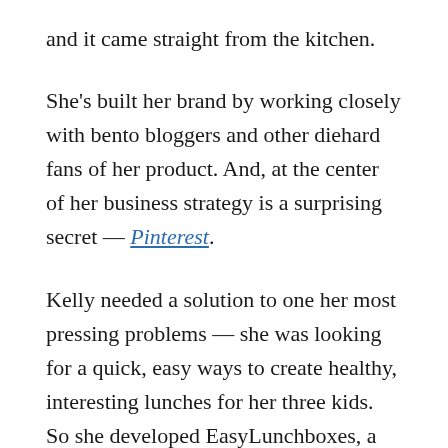and it came straight from the kitchen.
She's built her brand by working closely with bento bloggers and other diehard fans of her product. And, at the center of her business strategy is a surprising secret — Pinterest.
Kelly needed a solution to one her most pressing problems — she was looking for a quick, easy ways to create healthy, interesting lunches for her three kids. So she developed EasyLunchboxes, a slick, easily washable lunchbox set.